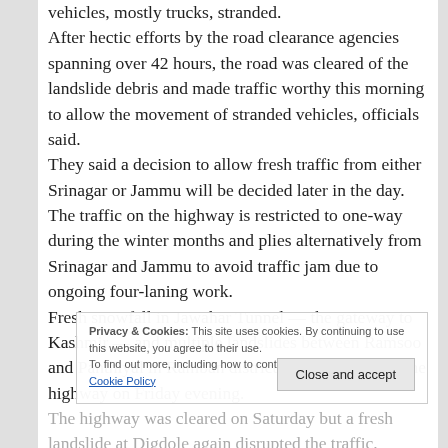vehicles, mostly trucks, stranded. After hectic efforts by the road clearance agencies spanning over 42 hours, the road was cleared of the landslide debris and made traffic worthy this morning to allow the movement of stranded vehicles, officials said. They said a decision to allow fresh traffic from either Srinagar or Jammu will be decided later in the day. The traffic on the highway is restricted to one-way during the winter months and plies alternatively from Srinagar and Jammu to avoid traffic jam due to ongoing four-laning work. Fresh snowfall in Jawahar Tunnel — the gateway to Kashmir — and multiple landslides between Ramsoo and Panthiyal in Ramban district forced closure of the highway on Friday evening.
The highway was cleared on Saturday but a fresh landslide at Digdole again disrupted the traffic. Meanwhile, severe cold conditions returned to Jammu region on Monday after the night temperature plummeted again.
Privacy & Cookies: This site uses cookies. By continuing to use this website, you agree to their use. To find out more, including how to control cookies, see here: Cookie Policy
Close and accept